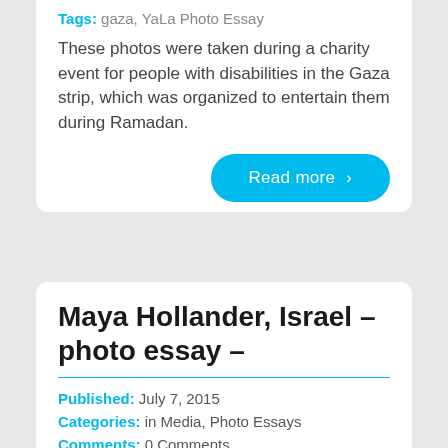Tags: gaza, YaLa Photo Essay
These photos were taken during a charity event for people with disabilities in the Gaza strip, which was organized to entertain them during Ramadan.
Read more ›
Maya Hollander, Israel – photo essay –
Published: July 7, 2015
Categories: in Media, Photo Essays
Comments: 0 Comments
Tags: animals, israel, Nature, YaLa Photo Essay
Exploring Israel with Maya.